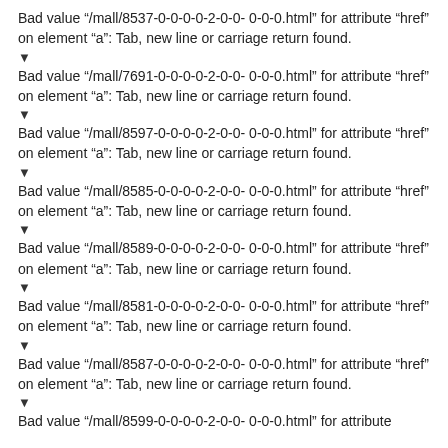Bad value "/mall/8537-0-0-0-0-2-0-0- 0-0-0.html" for attribute “href” on element “a”: Tab, new line or carriage return found.
Bad value "/mall/7691-0-0-0-0-2-0-0- 0-0-0.html" for attribute “href” on element “a”: Tab, new line or carriage return found.
Bad value "/mall/8597-0-0-0-0-2-0-0- 0-0-0.html" for attribute “href” on element “a”: Tab, new line or carriage return found.
Bad value "/mall/8585-0-0-0-0-2-0-0- 0-0-0.html" for attribute “href” on element “a”: Tab, new line or carriage return found.
Bad value "/mall/8589-0-0-0-0-2-0-0- 0-0-0.html" for attribute “href” on element “a”: Tab, new line or carriage return found.
Bad value "/mall/8581-0-0-0-0-2-0-0- 0-0-0.html" for attribute “href” on element “a”: Tab, new line or carriage return found.
Bad value "/mall/8587-0-0-0-0-2-0-0- 0-0-0.html" for attribute “href” on element “a”: Tab, new line or carriage return found.
Bad value "/mall/8599-0-0-0-0-2-0-0- 0-0-0.html" for attribute